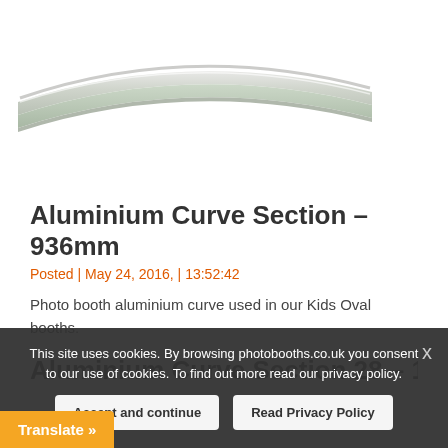[Figure (photo): Close-up photo of a curved aluminium section piece, viewed from above, showing a smooth curved aluminium profile against a white background.]
Aluminium Curve Section – 936mm
Posted | May 24, 2016, | 13:52:42
Photo booth aluminium curve used in our Kids Oval booths.
Aluminium Curve Section 28 – 1258mm
This site uses cookies. By browsing photobooths.co.uk you consent to our use of cookies. To find out more read our privacy policy.